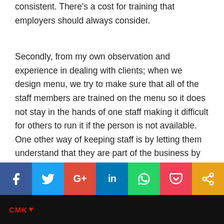consistent. There's a cost for training that employers should always consider.
Secondly, from my own observation and experience in dealing with clients; when we design menu, we try to make sure that all of the staff members are trained on the menu so it does not stay in the hands of one staff making it difficult for others to run it if the person is not available. One other way of keeping staff is by letting them understand that they are part of the business by making them feel belong – most chefs (staff) are not well paid and they are not being recognised by the restaurant owners. (Listen to the podcast for more…)
[Figure (other): Social sharing bar with icons for Facebook, Twitter, Google+, LinkedIn, WhatsApp, Pocket, and Share]
[Figure (photo): Dark photo strip at the bottom showing CMK logo text in red]